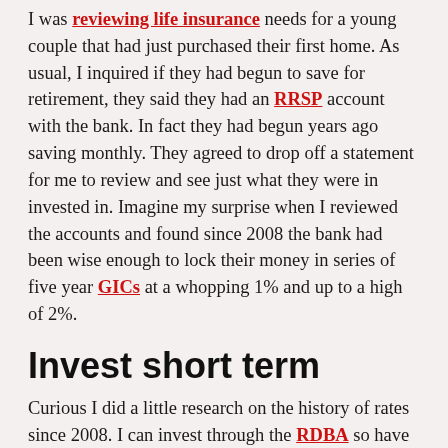I was reviewing life insurance needs for a young couple that had just purchased their first home. As usual, I inquired if they had begun to save for retirement, they said they had an RRSP account with the bank. In fact they had begun years ago saving monthly. They agreed to drop off a statement for me to review and see just what they were in invested in. Imagine my surprise when I reviewed the accounts and found since 2008 the bank had been wise enough to lock their money in series of five year GICs at a whopping 1% and up to a high of 2%.
Invest short term
Curious I did a little research on the history of rates since 2008. I can invest through the RDBA so have access to this information. How would you feel if your bank had done this to you, when at the time the average 5 year rates were between 3 and 4%! In fact I could have put that money in a high daily interest savings account during that time at 2%.